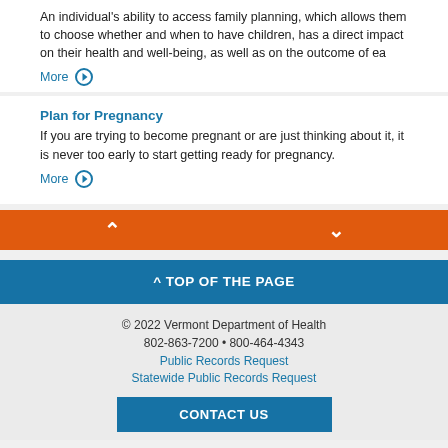An individual's ability to access family planning, which allows them to choose whether and when to have children, has a direct impact on their health and well-being, as well as on the outcome of ea
More ›
Plan for Pregnancy
If you are trying to become pregnant or are just thinking about it, it is never too early to start getting ready for pregnancy.
More ›
^ TOP OF THE PAGE
© 2022 Vermont Department of Health
802-863-7200 • 800-464-4343
Public Records Request
Statewide Public Records Request
CONTACT US